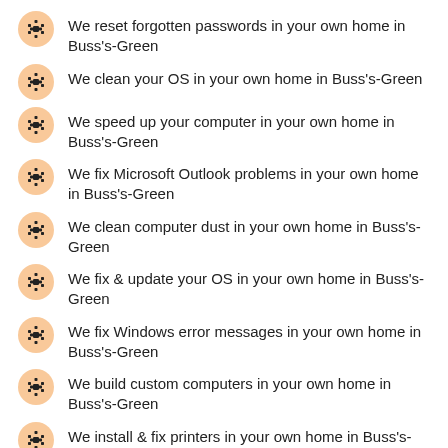We reset forgotten passwords in your own home in Buss's-Green
We clean your OS in your own home in Buss's-Green
We speed up your computer in your own home in Buss's-Green
We fix Microsoft Outlook problems in your own home in Buss's-Green
We clean computer dust in your own home in Buss's-Green
We fix & update your OS in your own home in Buss's-Green
We fix Windows error messages in your own home in Buss's-Green
We build custom computers in your own home in Buss's-Green
We install & fix printers in your own home in Buss's-Green
We transfer and backup data in your own home in Buss's-Green